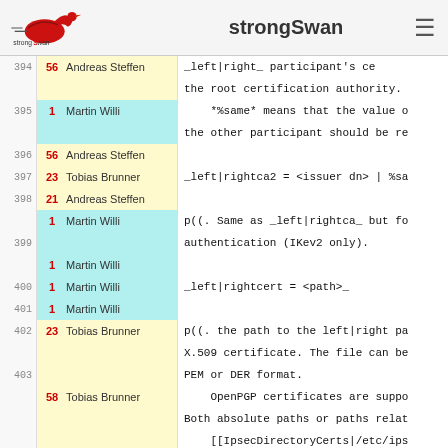strongSwan
| Line | Rev | Author | Code/Comment |
| --- | --- | --- | --- |
| 394 | 56 | Andreas Steffen | _left|right_ participant's ce the root certification authority. |
| 395 | 1 | Martin Willi | *%same* means that the value o the other participant should be re |
| 396 | 56 | Andreas Steffen |  |
| 397 | 23 | Tobias Brunner | _left|rightca2 = <issuer dn> | %sa |
| 398 | 21 | Andreas Steffen |  |
| 399 | 1 | Martin Willi | p((. Same as _left|rightca_ but fo authentication (IKev2 only). |
| 400 | 1 | Martin Willi |  |
| 401 | 1 | Martin Willi | _left|rightcert = <path>_ |
| 402 | 1 | Martin Willi |  |
| 403 | 23 | Tobias Brunner | p((. the path to the left|right pa X.509 certificate. The file can be PEM or DER format. |
| 404 | 58 | Tobias Brunner | OpenPGP certificates are suppo Both absolute paths or paths relat [[IpsecDirectoryCerts|/etc/ips |
| 405 | 58 | Tobias Brunner | are accepted. By default _left|righ _left|rightid_ |